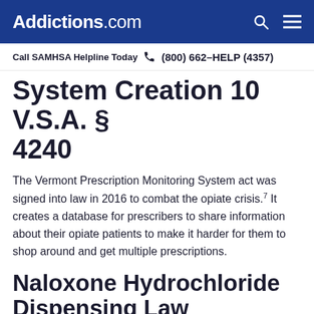Addictions.com
Call SAMHSA Helpline Today  (800) 662-HELP (4357)
System Creation 10 V.S.A. § 4240
The Vermont Prescription Monitoring System act was signed into law in 2016 to combat the opiate crisis.7 It creates a database for prescribers to share information about their opiate patients to make it harder for them to shop around and get multiple prescriptions.
Naloxone Hydrochloride Dispensing Law